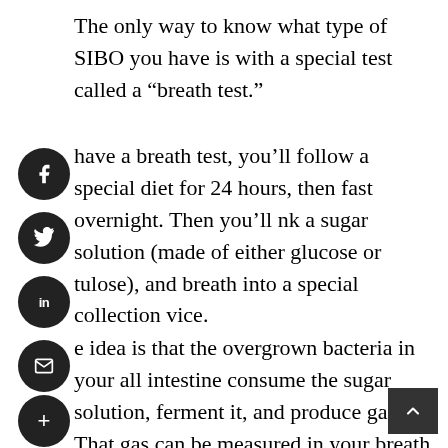The only way to know what type of SIBO you have is with a special test called a “breath test.”
have a breath test, you’ll follow a special diet for 24 hours, then fast overnight. Then you’ll nk a sugar solution (made of either glucose or tulose), and breath into a special collection vice.
e idea is that the overgrown bacteria in your all intestine consume the sugar solution, ferment it, and produce gas. That gas can be measured in your breath sample. A practitioner trained in SIBO can interpret test results and prescribe treatment based on your gas type and